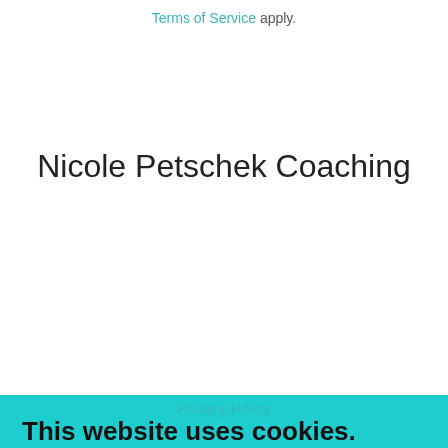Terms of Service apply.
Nicole Petschek Coaching
Privacy Policy
This website uses cookies.
We use cookies to analyze website traffic and optimize your website experience. By accepting our use of cookies, your data will be aggregated with all other user data.
ACCEPT